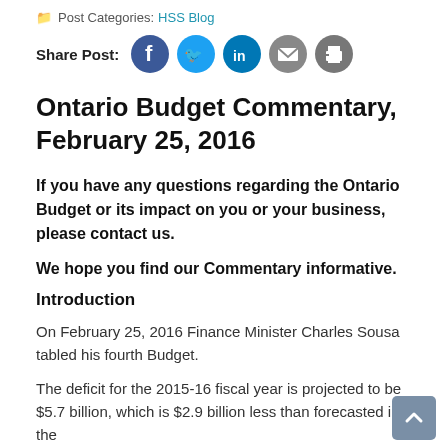Post Categories: HSS Blog
Share Post:
Ontario Budget Commentary, February 25, 2016
If you have any questions regarding the Ontario Budget or its impact on you or your business, please contact us.
We hope you find our Commentary informative.
Introduction
On February 25, 2016 Finance Minister Charles Sousa tabled his fourth Budget.
The deficit for the 2015-16 fiscal year is projected to be $5.7 billion, which is $2.9 billion less than forecasted in the